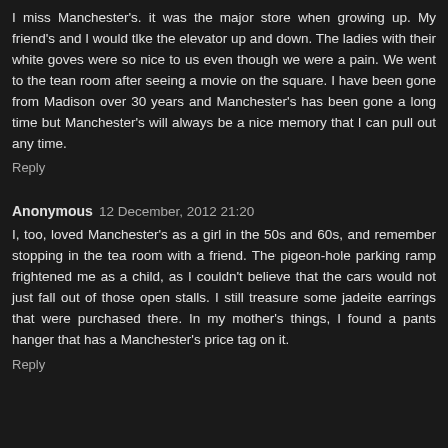I miss Manchester's. it was the major store when growing up. My friend's and I would tlke the elevator up and down. The ladies with their white goves were so nice to us even though we were a pain. We went to the tean room after seeing a movie on the square. I have been gone from Madison over 30 years and Manchester's has been gone a long time but Manchester's will always be a nice memory that I can pull out any time.
Reply
Anonymous  12 December, 2012 21:20
I, too, loved Manchester's as a girl in the 50s and 60s, and remember stopping in the tea room with a friend. The pigeon-hole parking ramp frightened me as a child, as I couldn't believe that the cars would not just fall out of those open stalls. I still treasure some jadeite earrings that were purchased there. In my mother's things, I found a pants hanger that has a Manchester's price tag on it.
Reply